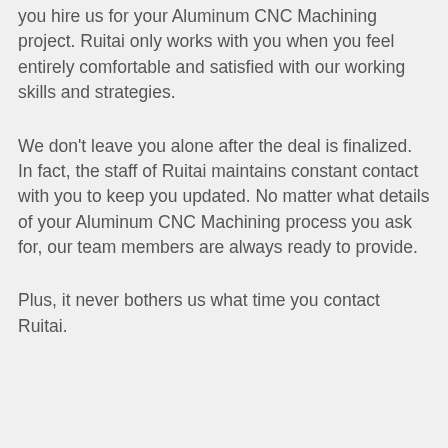you hire us for your Aluminum CNC Machining project. Ruitai only works with you when you feel entirely comfortable and satisfied with our working skills and strategies.
We don't leave you alone after the deal is finalized. In fact, the staff of Ruitai maintains constant contact with you to keep you updated. No matter what details of your Aluminum CNC Machining process you ask for, our team members are always ready to provide.
Plus, it never bothers us what time you contact Ruitai.